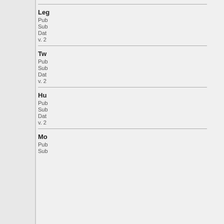v. 2
Leg...
Pub...
Sub...
Dat...
v. 2
Tw...
Pub...
Sub...
Dat...
v. 2
Hu...
Pub...
Sub...
Dat...
v. 2
Mo...
Pub...
Sub...